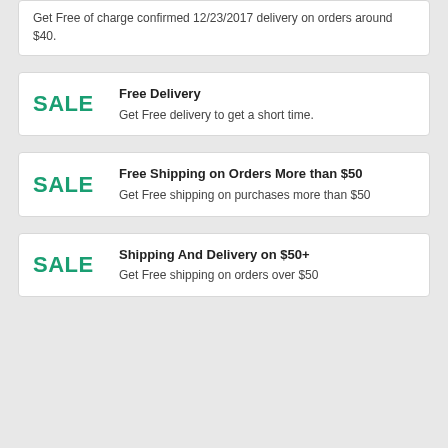Get Free of charge confirmed 12/23/2017 delivery on orders around $40.
SALE | Free Delivery | Get Free delivery to get a short time.
SALE | Free Shipping on Orders More than $50 | Get Free shipping on purchases more than $50
SALE | Shipping And Delivery on $50+ | Get Free shipping on orders over $50